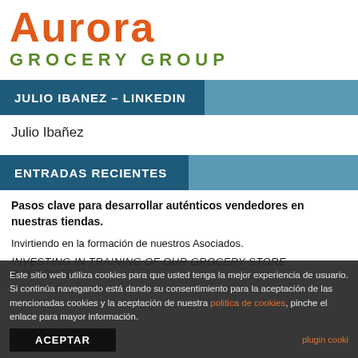[Figure (logo): Aurora Grocery Group logo with orange 'Aurora' text and green 'GROCERY GROUP' text below]
JULIO IBANEZ – LINKEDIN
Julio Ibañez
ENTRADAS RECIENTES
Pasos clave para desarrollar auténticos vendedores en nuestras tiendas.
Invirtiendo en la formación de nuestros Asociados.
INVESTING IN TRAINING OF OUR GROCERY STORE ASSOCIATES
Este sitio web utiliza cookies para que usted tenga la mejor experiencia de usuario. Si continúa navegando está dando su consentimiento para la aceptación de las mencionadas cookies y la aceptación de nuestra politica de cookies, pinche el enlace para mayor información.